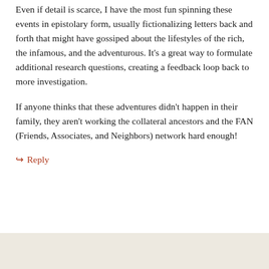Even if detail is scarce, I have the most fun spinning these events in epistolary form, usually fictionalizing letters back and forth that might have gossiped about the lifestyles of the rich, the infamous, and the adventurous. It's a great way to formulate additional research questions, creating a feedback loop back to more investigation.
If anyone thinks that these adventures didn't happen in their family, they aren't working the collateral ancestors and the FAN (Friends, Associates, and Neighbors) network hard enough!
↪ Reply